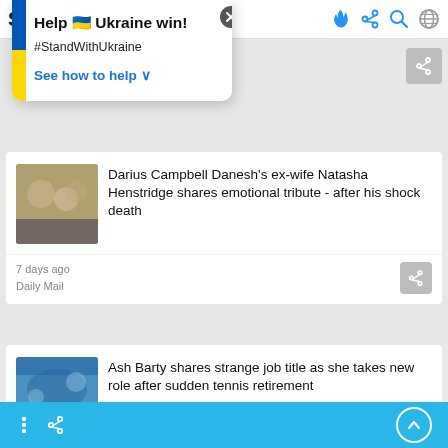Sh!TOF [app header with icons: flame, share, search, globe]
Help 🇺🇦 Ukraine win!
#StandWithUkraine
See how to help ∨
Darius Campbell Danesh's ex-wife Natasha Henstridge shares emotional tribute - after his shock death
7 days ago
Daily Mail
Ash Barty shares strange job title as she takes new role after sudden tennis retirement
⋮  [share icon]   [up arrow button]